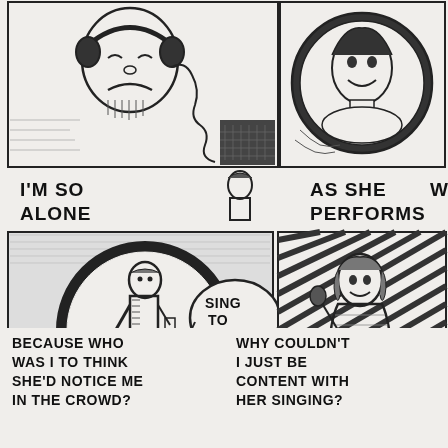[Figure (illustration): Comic strip page with black and white hand-drawn panels showing a lonely man and a performing woman singer. Top row has two panels: left panel shows a man with headphones looking distressed, right panel shows a woman's face smiling in a circle. Middle section has text 'I'M SO ALONE' and 'AS SHE PERFORMS' with a partial 'WH' cut off. Large middle panel shows a man in a circle with a speech bubble saying 'SING TO ME', and a woman sitting on a stool performing. Bottom text reads 'BECAUSE WHO WAS I TO THINK SHE'D NOTICE ME IN THE CROWD?' and 'WHY COULDN'T I JUST BE CONTENT WITH HER SINGING?']